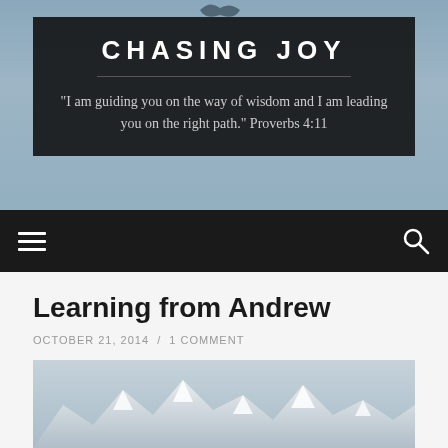CHASING JOY
"I am guiding you on the way of wisdom and I am leading you on the right path." Proverbs 4:11
Learning from Andrew
OCTOBER 21, 2014 / 1 COMMENT
[Figure (photo): Snow-capped mountain range under an overcast sky]